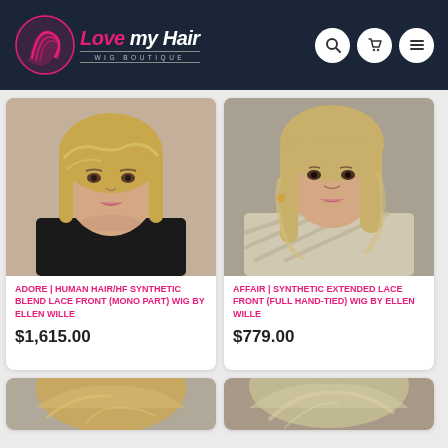Love my Hair Wig Boutique
[Figure (photo): Woman wearing a short blonde bob wig, product photo for Adore wig by Ellen Wille]
ADORE | HUMAN HAIR/HF SYNTHETIC BLEND LACE FRONT (MONO PART) WIG BY ELLEN WILLE
$1,615.00
[Figure (photo): Woman wearing a medium-length blonde layered wig, product photo for Affair wig by Ellen Wille]
AFFAIR | SYNTHETIC EXTENDED LACE FRONT (FULL HAND-TIED) WIG BY ELLEN WILLE
$779.00
[Figure (photo): Partial view of woman wearing a short textured wig, bottom of page]
[Figure (photo): Partial view of woman wearing a short blonde wig, bottom of page]